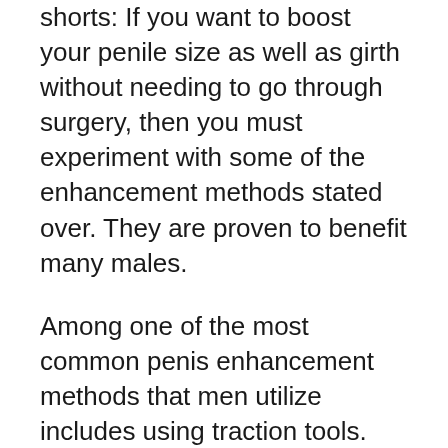shorts: If you want to boost your penile size as well as girth without needing to go through surgery, then you must experiment with some of the enhancement methods stated over. They are proven to benefit many males.
Among one of the most common penis enhancement methods that men utilize includes using traction tools. Traction gadgets function by applying continual stress to the organ. When this continual stress is applied, the body responds by generating the lubrication that is needed for appropriate development. This lubrication aids the cells in the penis grow and increase. Grip devices have been in use for decades. There are even lots of guys that advocate